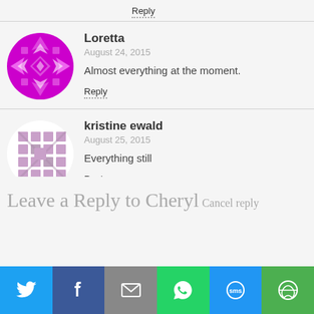Reply
[Figure (illustration): Purple decorative avatar with geometric pattern for user Loretta]
Loretta
August 24, 2015
Almost everything at the moment.
Reply
[Figure (illustration): Gray/muted decorative avatar with geometric pattern for user kristine ewald]
kristine ewald
August 25, 2015
Everything still
Reply
Leave a Reply to Cheryl Cancel reply
[Figure (infographic): Social sharing bar with Twitter, Facebook, Email, WhatsApp, SMS, and More buttons]